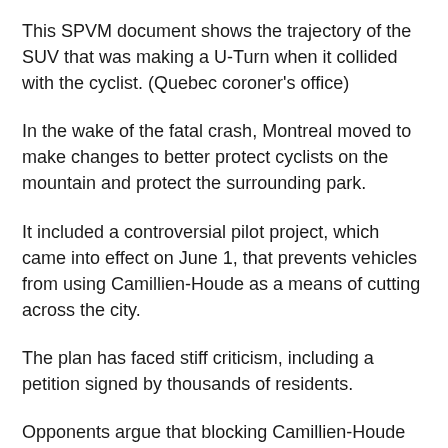This SPVM document shows the trajectory of the SUV that was making a U-Turn when it collided with the cyclist. (Quebec coroner's office)
In the wake of the fatal crash, Montreal moved to make changes to better protect cyclists on the mountain and protect the surrounding park.
It included a controversial pilot project, which came into effect on June 1, that prevents vehicles from using Camillien-Houde as a means of cutting across the city.
The plan has faced stiff criticism, including a petition signed by thousands of residents.
Opponents argue that blocking Camillien-Houde Way will reduce access to the mountain and create a barrier between the city's eastern and western...